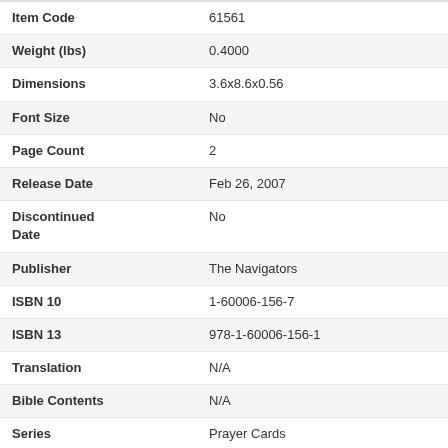| Field | Value |
| --- | --- |
| Item Code | 61561 |
| Weight (lbs) | 0.4000 |
| Dimensions | 3.6x8.6x0.56 |
| Font Size | No |
| Page Count | 2 |
| Release Date | Feb 26, 2007 |
| Discontinued Date | No |
| Publisher | The Navigators |
| ISBN 10 | 1-60006-156-7 |
| ISBN 13 | 978-1-60006-156-1 |
| Translation | N/A |
| Bible Contents | N/A |
| Series | Prayer Cards |
| Case Qty | 72 |
Write Your Own Review
Only registered users can write reviews. Please, log in or register